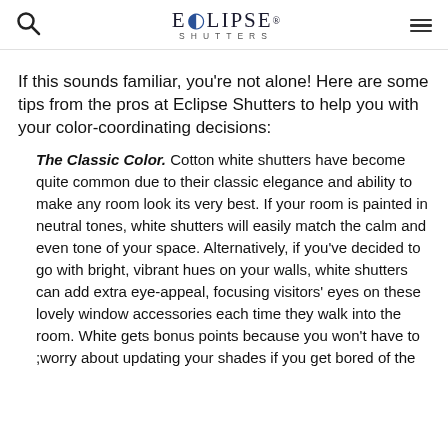ECLIPSE SHUTTERS
If this sounds familiar, you're not alone! Here are some tips from the pros at Eclipse Shutters to help you with your color-coordinating decisions:
The Classic Color. Cotton white shutters have become quite common due to their classic elegance and ability to make any room look its very best. If your room is painted in neutral tones, white shutters will easily match the calm and even tone of your space. Alternatively, if you've decided to go with bright, vibrant hues on your walls, white shutters can add extra eye-appeal, focusing visitors' eyes on these lovely window accessories each time they walk into the room. White gets bonus points because you won't have to ;worry about updating your shades if you get bored of the